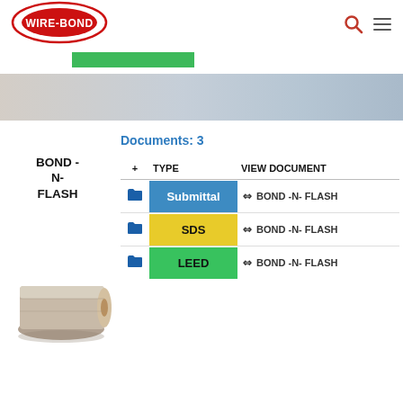WIRE-BOND
Documents: 3
BOND - N- FLASH
| + | TYPE | VIEW DOCUMENT |
| --- | --- | --- |
| [folder] | Submittal | 🔗 BOND -N- FLASH |
| [folder] | SDS | 🔗 BOND -N- FLASH |
| [folder] | LEED | 🔗 BOND -N- FLASH |
[Figure (photo): Roll of BOND-N-FLASH flashing membrane product]